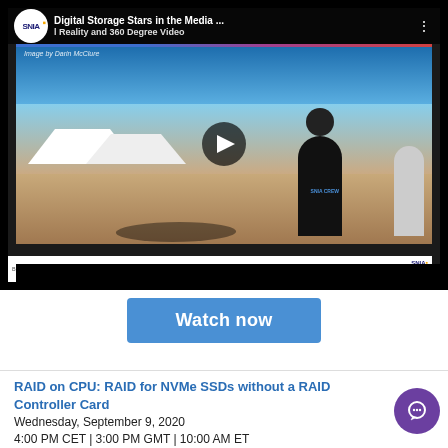[Figure (screenshot): YouTube video player showing SNIA 'Digital Storage Stars in the Media...' video titled 'Reality and 360 Degree Video', with a 360-degree outdoor photo and play button overlay. Video bottom bar shows copyright credits and SNIA logo. A Watch now button appears below.]
Watch now
RAID on CPU: RAID for NVMe SSDs without a RAID Controller Card
Wednesday, September 9, 2020
4:00 PM CET | 3:00 PM GMT | 10:00 AM ET